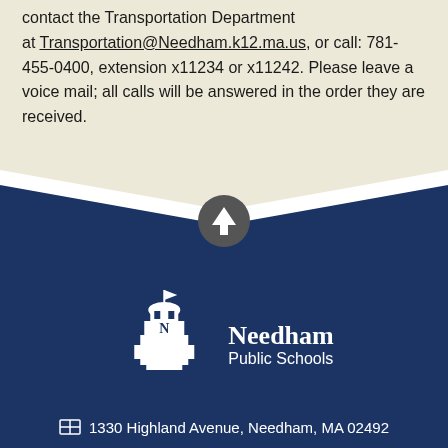contact the Transportation Department at Transportation@Needham.k12.ma.us, or call: 781-455-0400, extension x11234 or x11242. Please leave a voice mail; all calls will be answered in the order they are received.
[Figure (logo): Needham Public Schools logo with building/tower icon and text 'Needham Public Schools']
1330 Highland Avenue, Needham, MA 02492